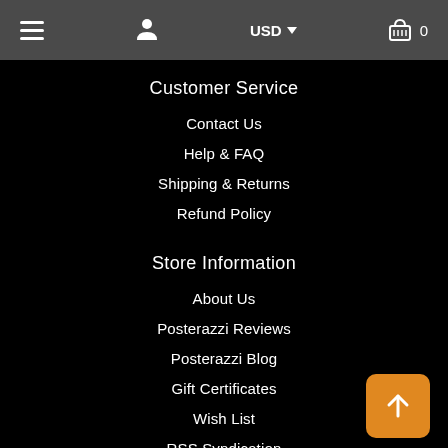≡  [user icon]  USD ▾  [cart icon] 0
Customer Service
Contact Us
Help & FAQ
Shipping & Returns
Refund Policy
Store Information
About Us
Posterazzi Reviews
Posterazzi Blog
Gift Certificates
Wish List
RSS Syndication
Security & Privacy